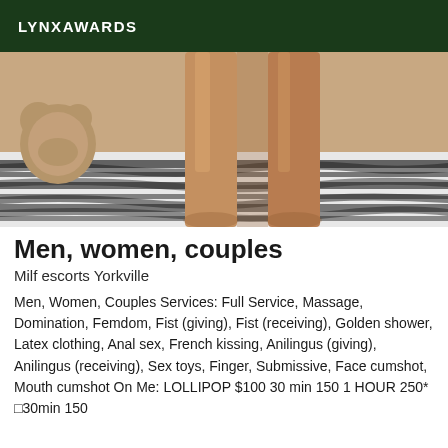LYNXAWARDS
[Figure (photo): Close-up photo of person's legs standing on a zebra-print surface, with a beige wall and stuffed animal in background]
Men, women, couples
Milf escorts Yorkville
Men, Women, Couples Services: Full Service, Massage, Domination, Femdom, Fist (giving), Fist (receiving), Golden shower, Latex clothing, Anal sex, French kissing, Anilingus (giving), Anilingus (receiving), Sex toys, Finger, Submissive, Face cumshot, Mouth cumshot On Me: LOLLIPOP $100 30 min 150 1 HOUR 250* □30min 150